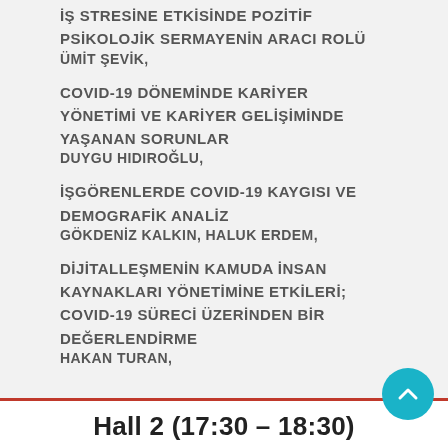İŞ STRESİNE ETKİSİNDE POZİTİF PSİKOLOJİK SERMAYENİN ARACI ROLÜ
ÜMİT ŞEVİK,
COVID-19 DÖNEMİNDE KARİYER YÖNETİMİ VE KARİYER GELİŞİMİNDE YAŞANAN SORUNLAR
DUYGU HIDIROĞLU,
İŞGÖRENLERDE COVID-19 KAYGISI VE DEMOGRAFİK ANALİZ
GÖKDENİZ KALKIN, HALUK ERDEM,
DİJİTALLEŞMENİN KAMUDA İNSAN KAYNAKLARI YÖNETİMİNE ETKİLERİ; COVID-19 SÜRECİ ÜZERİNDEN BİR DEĞERLENDİRME
HAKAN TURAN,
Hall 2 (17:30 – 18:30)